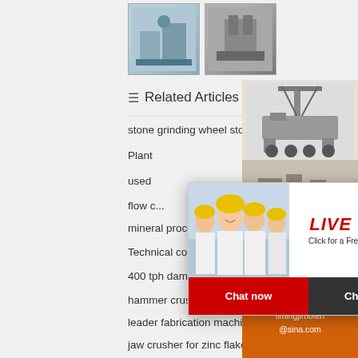[Figure (photo): Two small thumbnail images of industrial machinery/equipment]
Related Articles
stone grinding wheel stone grinding wheel su... and
Plant
used
flow c...
mineral processing vibrating screen
Technical comparison of cone crushers
400 tph dampak crusher batubara
hammer crushers for sale Kenya
leader fabrication machine traitement sable
jaw crusher for zinc flakes   grinding silica used
[Figure (photo): Orange sidebar with machinery images, discount offer showing 3% discount and Click to Chat button, Enquiry button, and email limingjlmofen@sina.com]
[Figure (screenshot): Live Chat popup overlay with photo of workers in hard hats, LIVE CHAT heading in red italic, Click for a Free Consultation text, Chat now button in red and Chat later button in dark gray]